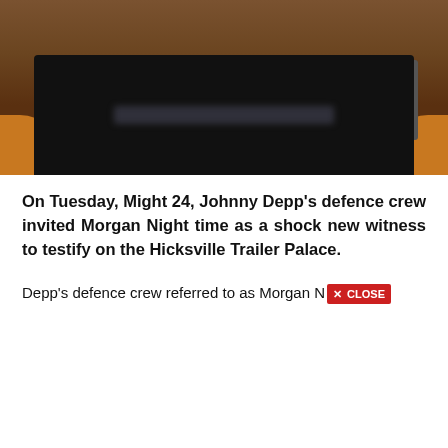[Figure (photo): A person wearing an orange/yellow jacket seated behind a dark computer monitor in what appears to be a courtroom or hearing room. The monitor screen content is blurred/obscured.]
On Tuesday, Might 24, Johnny Depp's defence crew invited Morgan Night time as a shock new witness to testify on the Hicksville Trailer Palace.
Depp's defence crew referred to as Morgan N [CLOSE button]